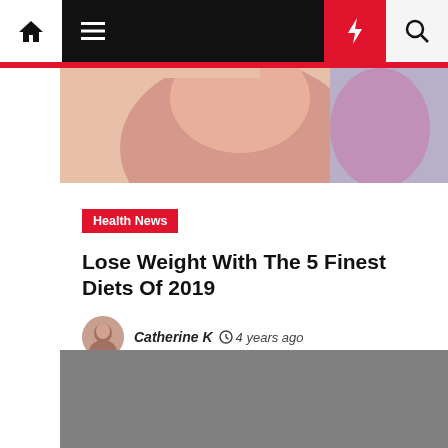[Figure (screenshot): Website navigation bar with home icon, hamburger menu, dark background, moon icon, red lightning bolt icon, and search icon]
[Figure (photo): Cropped close-up photo of a person's face, pink/warm tones]
Health News
Lose Weight With The 5 Finest Diets Of 2019
Catherine K   4 years ago
[Figure (photo): Gray placeholder image, second article photo]